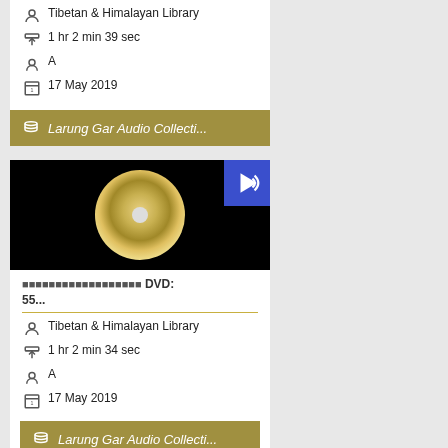Tibetan & Himalayan Library
1 hr 2 min 39 sec
A
17 May 2019
Larung Gar Audio Collecti...
[Figure (photo): CD/DVD disc thumbnail with audio badge icon, black background]
DVD: 55...
Tibetan & Himalayan Library
1 hr 2 min 34 sec
A
17 May 2019
Larung Gar Audio Collecti...